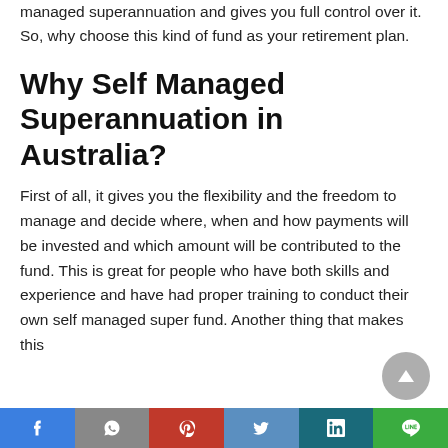managed superannuation and gives you full control over it. So, why choose this kind of fund as your retirement plan.
Why Self Managed Superannuation in Australia?
First of all, it gives you the flexibility and the freedom to manage and decide where, when and how payments will be invested and which amount will be contributed to the fund. This is great for people who have both skills and experience and have had proper training to conduct their own self managed super fund. Another thing that makes this
Social share bar: Facebook, WhatsApp/grey, Pinterest, Twitter, LinkedIn, Line